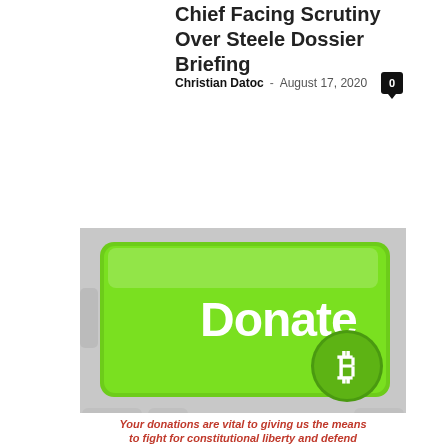Chief Facing Scrutiny Over Steele Dossier Briefing
Christian Datoc - August 17, 2020
[Figure (other): Pagination bar showing page buttons: 1 (active, red), 2, 3, and next arrow]
[Figure (photo): A green keyboard key labeled 'Donate' with a Bitcoin symbol circle overlay, on a grey keyboard background. Below the image is red italic bold text: 'Your donations are vital to giving us the means to fight for constitutional liberty and defend']